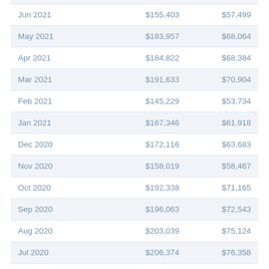|  |  |  |
| --- | --- | --- |
| Jun 2021 | $155,403 | $57,499 |
| May 2021 | $183,957 | $68,064 |
| Apr 2021 | $184,822 | $68,384 |
| Mar 2021 | $191,633 | $70,904 |
| Feb 2021 | $145,229 | $53,734 |
| Jan 2021 | $167,346 | $61,918 |
| Dec 2020 | $172,116 | $63,683 |
| Nov 2020 | $158,019 | $58,467 |
| Oct 2020 | $192,338 | $71,165 |
| Sep 2020 | $196,063 | $72,543 |
| Aug 2020 | $203,039 | $75,124 |
| Jul 2020 | $206,374 | $76,358 |